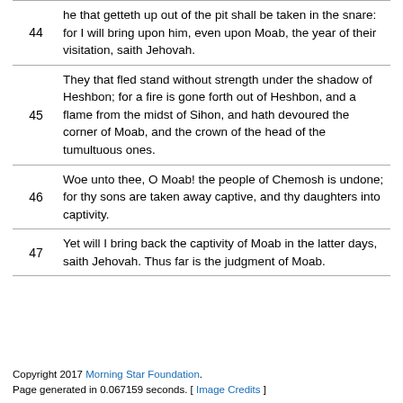| Verse | Text |
| --- | --- |
| 44 | he that getteth up out of the pit shall be taken in the snare: for I will bring upon him, even upon Moab, the year of their visitation, saith Jehovah. |
| 45 | They that fled stand without strength under the shadow of Heshbon; for a fire is gone forth out of Heshbon, and a flame from the midst of Sihon, and hath devoured the corner of Moab, and the crown of the head of the tumultuous ones. |
| 46 | Woe unto thee, O Moab! the people of Chemosh is undone; for thy sons are taken away captive, and thy daughters into captivity. |
| 47 | Yet will I bring back the captivity of Moab in the latter days, saith Jehovah. Thus far is the judgment of Moab. |
Copyright 2017 Morning Star Foundation.
Page generated in 0.067159 seconds. [ Image Credits ]